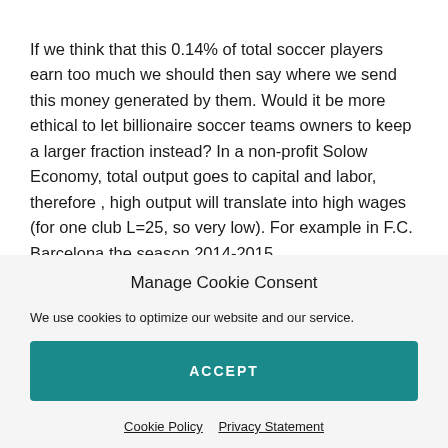If we think that this 0.14% of total soccer players earn too much we should then say where we send this money generated by them. Would it be more ethical to let billionaire soccer teams owners to keep a larger fraction instead? In a non-profit Solow Economy, total output goes to capital and labor, therefore , high output will translate into high wages (for one club L=25, so very low). For example in F.C. Barcelona the season 2014-2015
Manage Cookie Consent
We use cookies to optimize our website and our service.
ACCEPT
Cookie Policy   Privacy Statement